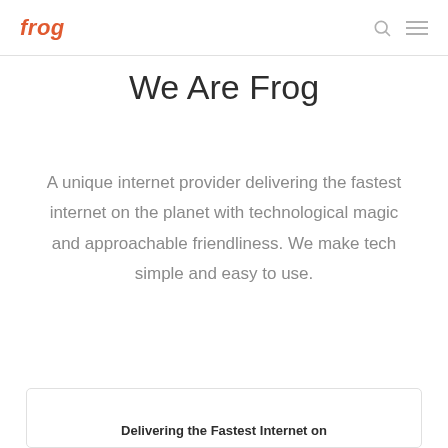frog
We Are Frog
A unique internet provider delivering the fastest internet on the planet with technological magic and approachable friendliness. We make tech simple and easy to use.
Delivering the Fastest Internet on